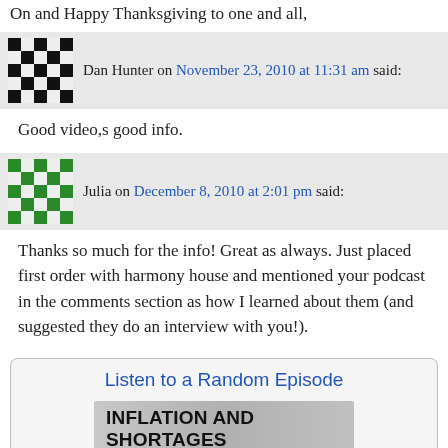On and Happy Thanksgiving to one and all,
Dan Hunter on November 23, 2010 at 11:31 am said:
Good video,s good info.
Julia on December 8, 2010 at 2:01 pm said:
Thanks so much for the info! Great as always. Just placed first order with harmony house and mentioned your podcast in the comments section as how I learned about them (and suggested they do an interview with you!).
Listen to a Random Episode
[Figure (illustration): Advertisement banner: INFLATION AND SHORTAGES GOT YOU DOWN?]
[Figure (illustration): JM Bullion advertisement: BUY GOLD AND SILVER FREE SHIPPING ON ALL ORDERS - BUY NOW button]